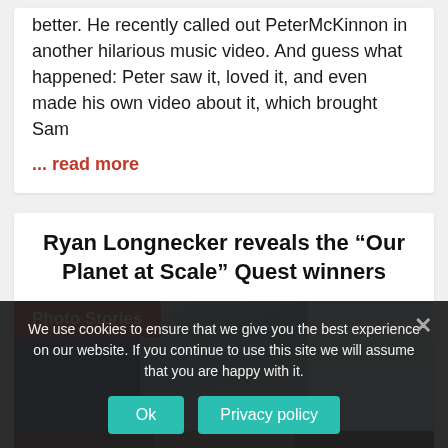better. He recently called out PeterMcKinnon in another hilarious music video. And guess what happened: Peter saw it, loved it, and even made his own video about it, which brought Sam
... read more
Ryan Longnecker reveals the “Our Planet at Scale” Quest winners
[Figure (photo): Photo Stories banner with three photo thumbnails: blue toned photo on left, aerial mountain/glacier photo in center, ocean/sailboat photo on right]
[Figure (photo): Bottom row of three dark-toned nature photographs]
We use cookies to ensure that we give you the best experience on our website. If you continue to use this site we will assume that you are happy with it.
Ok   Privacy policy